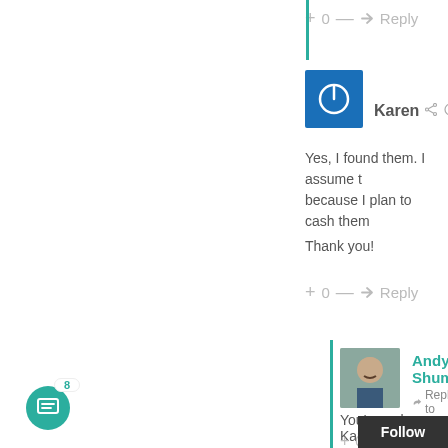+ 0 — Reply
[Figure (illustration): Karen user avatar: blue square with white power button icon]
Karen  8 years
Yes, I found them. I assume because I plan to cash them
Thank you!
+ 0 — Reply
[Figure (photo): Andy Shuman profile photo: bald man with mustache]
Andy Shuman Reply to Karen
You're welcome, Karen!
+ 0 — Reply
Follow
8